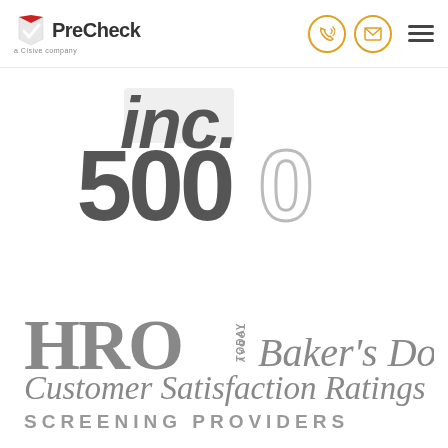[Figure (logo): PreCheck – a Cisive company logo with red/white checkmark icon in shield shape]
[Figure (logo): Inc. 5000 award logo in gray tones, showing 'inc.' in large italic bold text above '5000' numeral]
[Figure (logo): HRO Today Baker's Dozen Customer Satisfaction Ratings – Screening Providers award logo in gray tones]